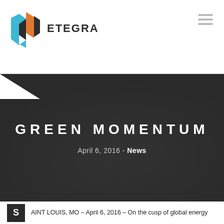ETEGRA
GREEN MOMENTUM
April 6, 2016 - News
AINT LOUIS, MO – April 6, 2016 – On the cusp of global energy